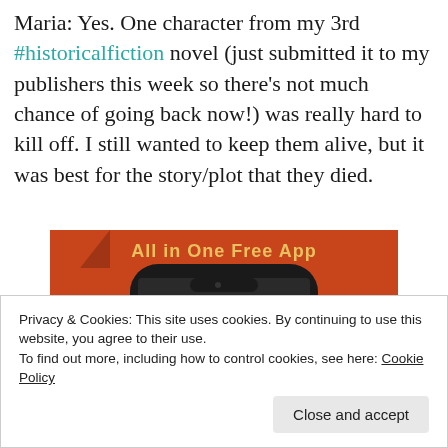Maria: Yes. One character from my 3rd #historicalfiction novel (just submitted it to my publishers this week so there's not much chance of going back now!) was really hard to kill off. I still wanted to keep them alive, but it was best for the story/plot that they died.
[Figure (screenshot): DuckDuckGo 'All in One Free App' advertisement showing a smartphone with the DuckDuckGo duck logo on an orange background]
Privacy & Cookies: This site uses cookies. By continuing to use this website, you agree to their use.
To find out more, including how to control cookies, see here: Cookie Policy